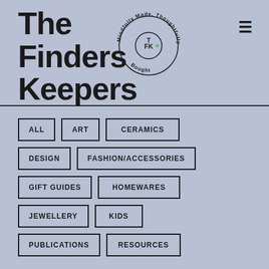The Finders Keepers
[Figure (logo): Circular logo with text 'Mindfully Made, Thoughtfully Bought' around the edge and 'FK' in the center circle]
ALL
ART
CERAMICS
DESIGN
FASHION/ACCESSORIES
GIFT GUIDES
HOMEWARES
JEWELLERY
KIDS
PUBLICATIONS
RESOURCES